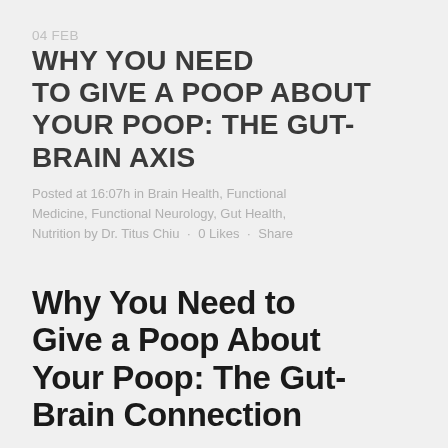04 FEB WHY YOU NEED TO GIVE A POOP ABOUT YOUR POOP: THE GUT-BRAIN AXIS
Posted at 16:07h in Brain Health, Functional Medicine, Functional Neurology, Gut Health, Nutrition by Dr. Titus Chiu · 0 Likes · Share
Why You Need to Give a Poop About Your Poop: The Gut-Brain Connection